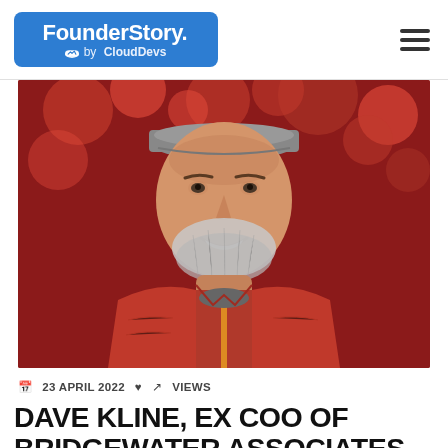FounderStory. by CloudDevs
[Figure (photo): Portrait photo of a middle-aged man with a grey beard wearing a red zip-up fleece jacket and grey cap, smiling against a background of red autumn foliage]
23 APRIL 2022  ♥  VIEWS
DAVE KLINE, EX COO OF BRIDGEWATER ASSOCIATES SHARES